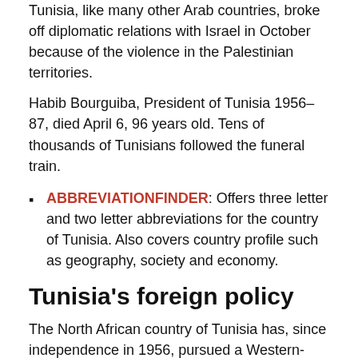Tunisia, like many other Arab countries, broke off diplomatic relations with Israel in October because of the violence in the Palestinian territories.
Habib Bourguiba, President of Tunisia 1956–87, died April 6, 96 years old. Tens of thousands of Tunisians followed the funeral train.
ABBREVIATIONFINDER: Offers three letter and two letter abbreviations for the country of Tunisia. Also covers country profile such as geography, society and economy.
Tunisia's foreign policy
The North African country of Tunisia has, since independence in 1956, pursued a Western-oriented foreign policy, but has remained alliance-free. A key line in foreign policy is the need, as a small state, to balance between larger neighboring countries. Another important factor has been the geographical location near Europe. Tunisia has therefore advocated bilateral relations and participated in multilateral, regional cooperation